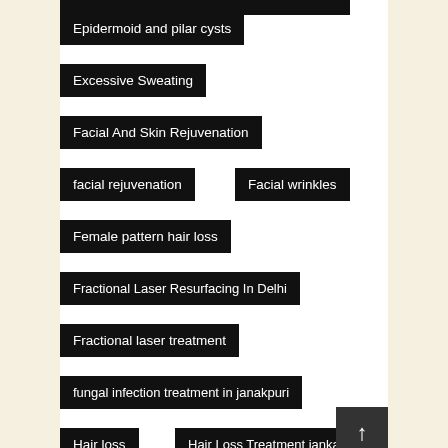Epidermoid and pilar cysts
Excessive Sweating
Facial And Skin Rejuvenation
facial rejuvenation
Facial wrinkles
Female pattern hair loss
Fractional Laser Resurfacing In Delhi
Fractional laser treatment
fungal infection treatment in janakpuri
Hair loss
Hair Loss Treatment jankapuri
Hair Removal
Hair Removal With Scanning Technology
Herpes zoster
HydraFacial cost in Delhi